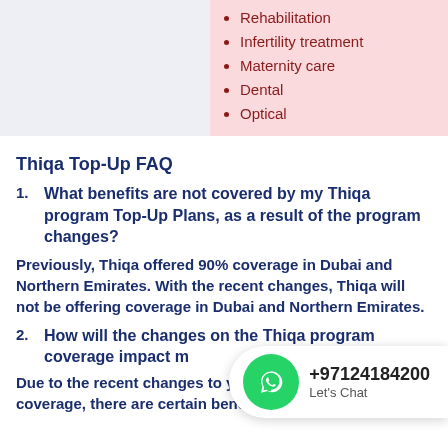Rehabilitation
Infertility treatment
Maternity care
Dental
Optical
Thiqa Top-Up FAQ
1. What benefits are not covered by my Thiqa program Top-Up Plans, as a result of the program changes?
Previously, Thiqa offered 90% coverage in Dubai and Northern Emirates. With the recent changes, Thiqa will not be offering coverage in Dubai and Northern Emirates.
2. How will the changes on the Thiqa program coverage impact my Thiqa Top-Up plan coverage?
Due to the recent changes to your Thiqa plan coverage, there are certain benefits which are no